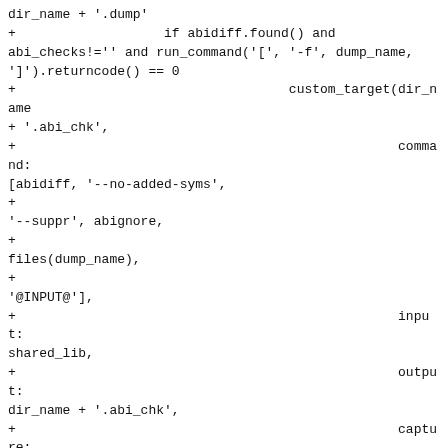dir_name + '.dump'
+                   if abidiff.found() and abi_checks!='' and run_command('[', '-f', dump_name, ']').returncode() == 0
+                                   custom_target(dir_name + '.abi_chk',
+                                                 command: [abidiff, '--no-added-syms',
+                                                 '--suppr', abignore,
+                                                 files(dump_name),
+                                                 '@INPUT@'],
+                                                 input: shared_lib,
+                                                 output: dir_name + '.abi_chk',
+                                                 capture: true,
+                                                 install: false,
+                                                 build_by_default: true)
+                   endif
+
+                   dpdk_libraries = [shared_lib] + dpdk_libraries
                   dpdk_static_libraries = [static_lib] + dpdk_static_libraries